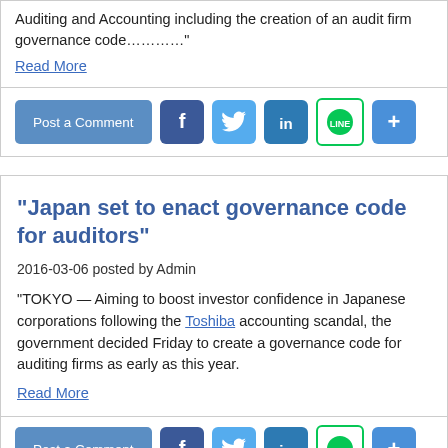Auditing and Accounting including the creation of an audit firm governance code…………"
Read More
“Japan set to enact governance code for auditors”
2016-03-06 posted by Admin
"TOKYO — Aiming to boost investor confidence in Japanese corporations following the Toshiba accounting scandal, the government decided Friday to create a governance code for auditing firms as early as this year.
Read More